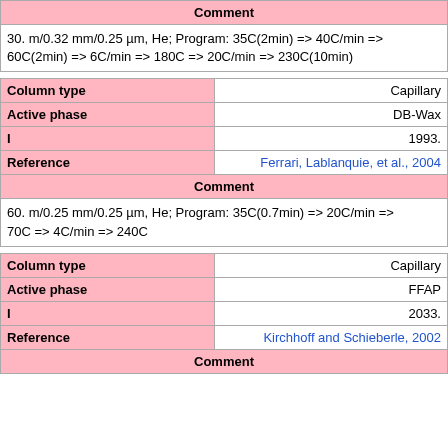| Comment |
| --- |
| 30. m/0.32 mm/0.25 µm, He; Program: 35C(2min) => 40C/min => 60C(2min) => 6C/min => 180C => 20C/min => 230C(10min) |
| Column type | Active phase | I | Reference |
| --- | --- | --- | --- |
| Column type | Capillary |
| Active phase | DB-Wax |
| I | 1993. |
| Reference | Ferrari, Lablanquie, et al., 2004 |
| Comment |
| --- |
| 60. m/0.25 mm/0.25 µm, He; Program: 35C(0.7min) => 20C/min => 70C => 4C/min => 240C |
| Column type | Active phase | I | Reference |
| --- | --- | --- | --- |
| Column type | Capillary |
| Active phase | FFAP |
| I | 2033. |
| Reference | Kirchhoff and Schieberle, 2002 |
| Comment |
| --- |
|  |